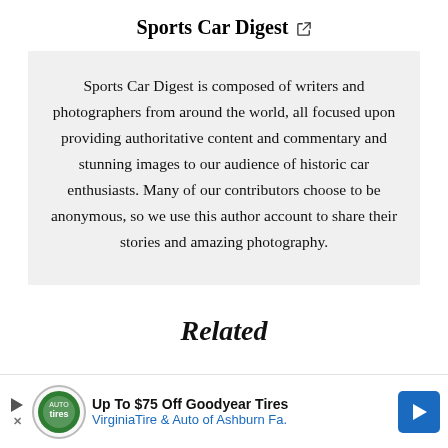Sports Car Digest ↗
Sports Car Digest is composed of writers and photographers from around the world, all focused upon providing authoritative content and commentary and stunning images to our audience of historic car enthusiasts. Many of our contributors choose to be anonymous, so we use this author account to share their stories and amazing photography.
Related
[Figure (other): Advertisement banner: Up To $75 Off Goodyear Tires – Virginia Tire & Auto of Ashburn Fa.]